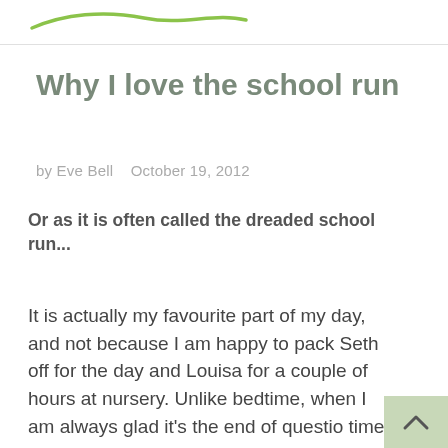Why I love the school run
by Eve Bell   October 19, 2012
Or as it is often called the dreaded school run...
It is actually my favourite part of my day, and not because I am happy to pack Seth off for the day and Louisa for a couple of hours at nursery. Unlike bedtime, when I am always glad it's the end of questio... time. My friend's daughter told me today